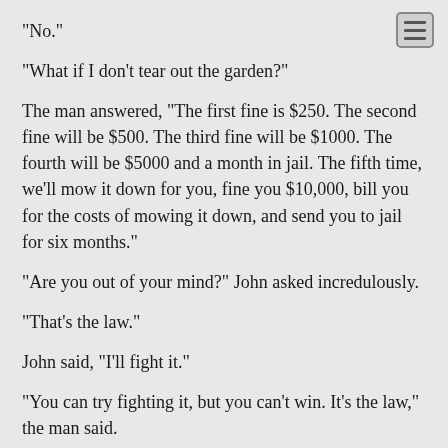"No."
"What if I don't tear out the garden?"
The man answered, "The first fine is $250. The second fine will be $500. The third fine will be $1000. The fourth will be $5000 and a month in jail. The fifth time, we'll mow it down for you, fine you $10,000, bill you for the costs of mowing it down, and send you to jail for six months."
"Are you out of your mind?" John asked incredulously.
"That's the law."
John said, "I'll fight it."
"You can try fighting it, but you can't win. It's the law," the man said.
"I'll fight it anyway."
"You'll be fighting it from jail," the man said.
"You could probably also do it in jail, someone started to..."